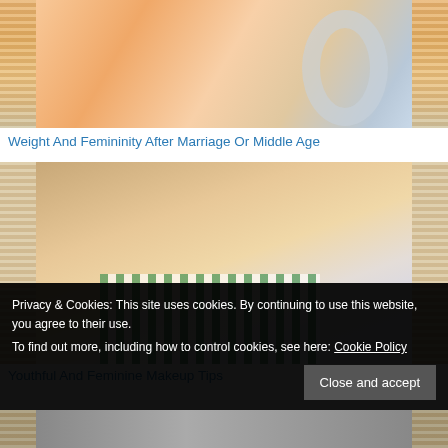[Figure (photo): Partial photo of a woman with orange/red hair and headphones, cropped at top of page]
Weight And Femininity After Marriage Or Middle Age
[Figure (photo): Photo of a smiling young woman with long brown hair, wearing a green and white striped shirt, hand near chin]
Youthful And Feminine Makeup Tips
Privacy & Cookies: This site uses cookies. By continuing to use this website, you agree to their use. To find out more, including how to control cookies, see here: Cookie Policy
Close and accept